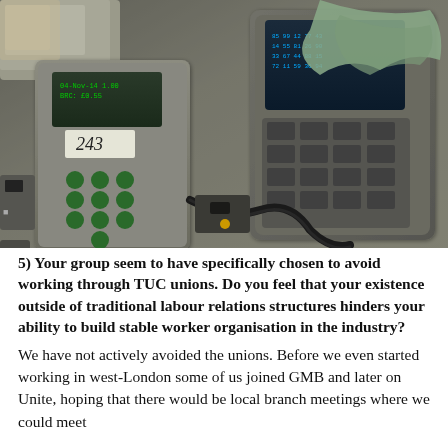[Figure (photo): Photograph of electronic bus ticketing machines and handheld devices piled together on a surface, showing keypads, screens, and cables.]
5) Your group seem to have specifically chosen to avoid working through TUC unions. Do you feel that your existence outside of traditional labour relations structures hinders your ability to build stable worker organisation in the industry?
We have not actively avoided the unions. Before we even started working in west-London some of us joined GMB and later on Unite, hoping that there would be local branch meetings where we could meet